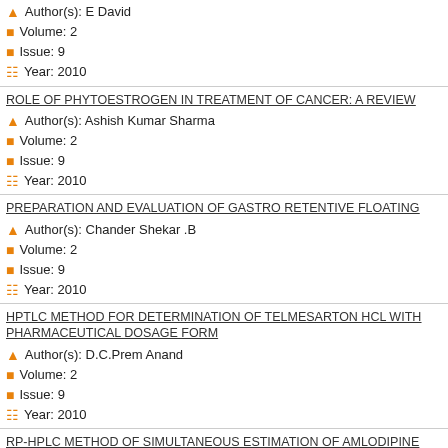Author(s): E David
Volume: 2
Issue: 9
Year: 2010
ROLE OF PHYTOESTROGEN IN TREATMENT OF CANCER: A REVIEW
Author(s): Ashish Kumar Sharma
Volume: 2
Issue: 9
Year: 2010
PREPARATION AND EVALUATION OF GASTRO RETENTIVE FLOATING
Author(s): Chander Shekar .B
Volume: 2
Issue: 9
Year: 2010
HPTLC METHOD FOR DETERMINATION OF TELMESARTON HCL WITH PHARMACEUTICAL DOSAGE FORM
Author(s): D.C.Prem Anand
Volume: 2
Issue: 9
Year: 2010
RP-HPLC METHOD OF SIMULTANEOUS ESTIMATION OF AMLODIPINE COMBINED DOSAGE FORM
Author(s): CH.M.M.Prasada Rao